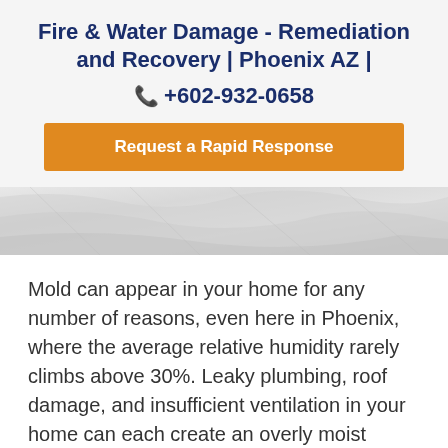Fire & Water Damage - Remediation and Recovery | Phoenix AZ |
+602-932-0658
Request a Rapid Response
[Figure (photo): Close-up of crinkled white fabric or paper texture, serving as a hero/banner image.]
Mold can appear in your home for any number of reasons, even here in Phoenix, where the average relative humidity rarely climbs above 30%. Leaky plumbing, roof damage, and insufficient ventilation in your home can each create an overly moist environment that